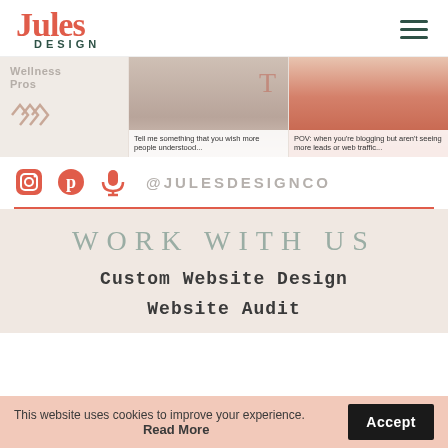[Figure (logo): Jules Design logo — 'Jules' in coral/red serif font, 'DESIGN' in small dark green uppercase sans-serif below]
[Figure (screenshot): Media strip with three panels: left panel shows 'Wellness Pros' text with chevron pattern on beige background; center panel shows a video thumbnail of a woman with text overlay 'Tell me something that you wish more people understood...'; right panel shows a video thumbnail of a woman in red with text overlay 'POV: when you're blogging but aren't seeing more leads or web traffic...']
@JULESDESIGNCO
WORK WITH US
Custom Website Design
Website Audit
This website uses cookies to improve your experience. Read More